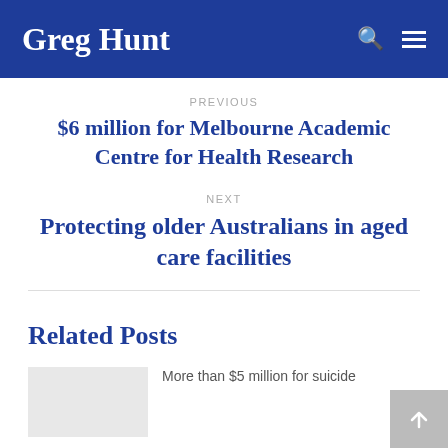Greg Hunt
PREVIOUS
$6 million for Melbourne Academic Centre for Health Research
NEXT
Protecting older Australians in aged care facilities
Related Posts
More than $5 million for suicide